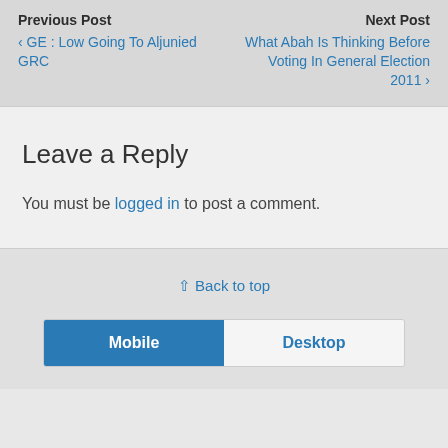Previous Post
‹ GE : Low Going To Aljunied GRC
Next Post
What Abah Is Thinking Before Voting In General Election 2011 ›
Leave a Reply
You must be logged in to post a comment.
⇑ Back to top
Mobile  Desktop